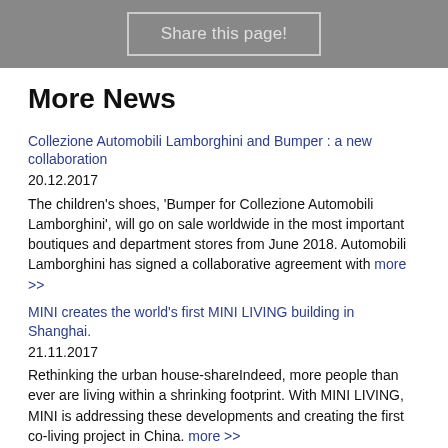Share this page!
More News
Collezione Automobili Lamborghini and Bumper : a new collaboration
20.12.2017
The children's shoes, 'Bumper for Collezione Automobili Lamborghini', will go on sale worldwide in the most important boutiques and department stores from June 2018. Automobili Lamborghini has signed a collaborative agreement with more >>
MINI creates the world's first MINI LIVING building in Shanghai.
21.11.2017
Rethinking the urban house-shareIndeed, more people than ever are living within a shrinking footprint. With MINI LIVING, MINI is addressing these developments and creating the first co-living project in China. more >>
McLaren adds new Lifestyle role to global communications team
10.11.2017
McLaren Automotive announced today an additional appointment in its global communications team with the promotion of Amel Boubaaya to the new role of Head of Lifestyle & European Communications with immediate effect.  This newly created position refl more >>